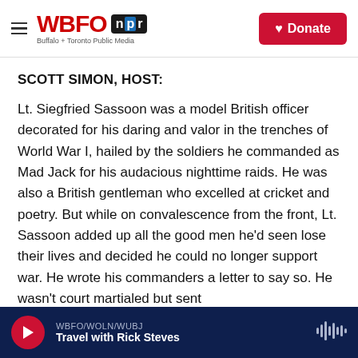WBFO npr — Buffalo + Toronto Public Media | Donate
SCOTT SIMON, HOST:
Lt. Siegfried Sassoon was a model British officer decorated for his daring and valor in the trenches of World War I, hailed by the soldiers he commanded as Mad Jack for his audacious nighttime raids. He was also a British gentleman who excelled at cricket and poetry. But while on convalescence from the front, Lt. Sassoon added up all the good men he'd seen lose their lives and decided he could no longer support war. He wrote his commanders a letter to say so. He wasn't court martialed but sent
WBFO/WOLN/WUBJ — Travel with Rick Steves